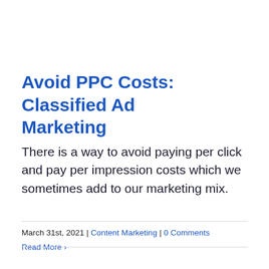Avoid PPC Costs: Classified Ad Marketing
There is a way to avoid paying per click and pay per impression costs which we sometimes add to our marketing mix.
March 31st, 2021 | Content Marketing | 0 Comments
Read More >